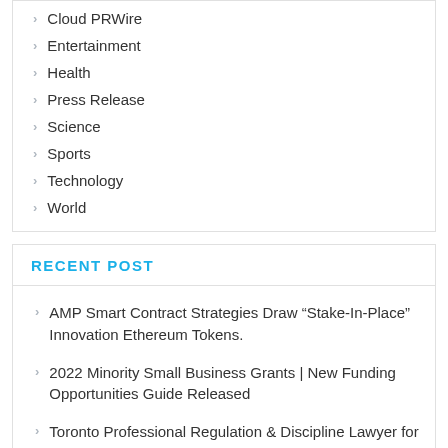Cloud PRWire
Entertainment
Health
Press Release
Science
Sports
Technology
World
RECENT POST
AMP Smart Contract Strategies Draw “Stake-In-Place” Innovation Ethereum Tokens.
2022 Minority Small Business Grants | New Funding Opportunities Guide Released
Toronto Professional Regulation & Discipline Lawyer for Professionals Announced